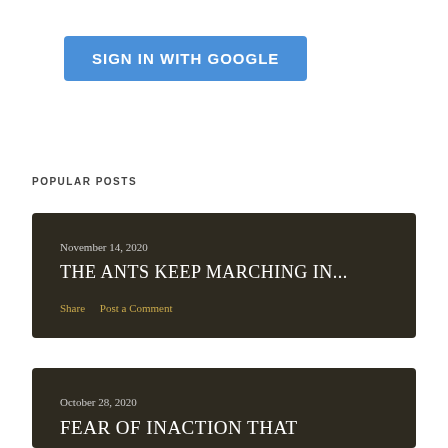[Figure (other): Blue 'Sign in with Google' button]
POPULAR POSTS
[Figure (other): Dark post card: November 14, 2020 / THE ANTS KEEP MARCHING IN... / Share | Post a Comment]
[Figure (other): Dark post card (partial): October 28, 2020 / FEAR OF INACTION THAT...]